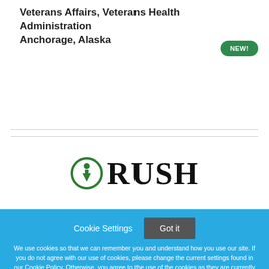Veterans Affairs, Veterans Health Administration Anchorage, Alaska
[Figure (logo): RUSH logo — green circular arrow/person icon followed by the word RUSH in large serif bold type]
Cookie Settings  Got it
We use cookies so that we can remember you and understand how you use our site. If you do not agree with our use of cookies, please change the current settings found in our Cookie Policy. Otherwise, you agree to the use of the cookies as they are currently set.